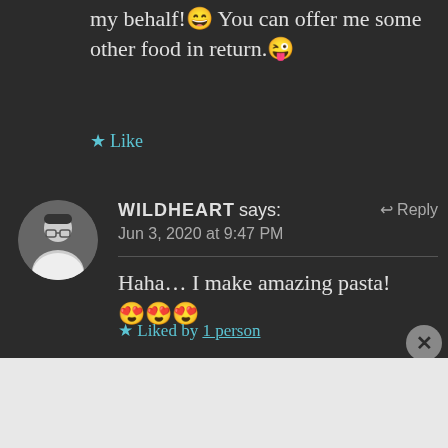my behalf!😄 You can offer me some other food in return.😜
★ Like
WILDHEART says:  ↩ Reply
Jun 3, 2020 at 9:47 PM
Haha… I make amazing pasta! 😍😍😍
★ Liked by 1 person
Advertisements
[Figure (logo): WooCommerce advertisement banner with text 'How to start selling subscriptions online']